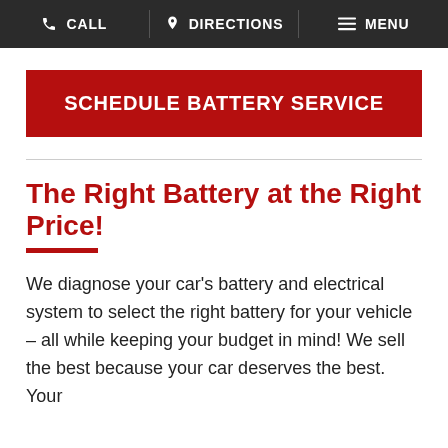CALL  DIRECTIONS  MENU
SCHEDULE BATTERY SERVICE
The Right Battery at the Right Price!
We diagnose your car's battery and electrical system to select the right battery for your vehicle – all while keeping your budget in mind! We sell the best because your car deserves the best. Your